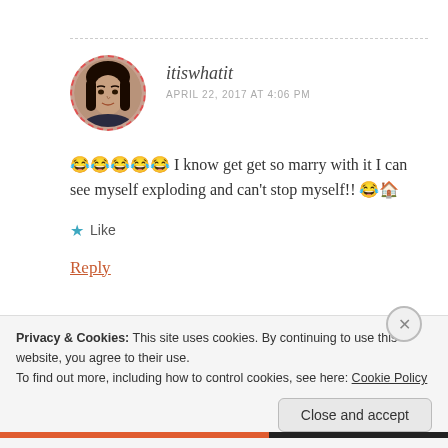[Figure (photo): Circular avatar photo of a woman with dark hair, outlined with a red dashed border]
itiswhatit
APRIL 22, 2017 AT 4:06 PM
😂😂😂😂😂 I know get get so marry with it I can see myself exploding and can't stop myself!! 😂🏠
★ Like
Reply
Privacy & Cookies: This site uses cookies. By continuing to use this website, you agree to their use.
To find out more, including how to control cookies, see here: Cookie Policy
Close and accept